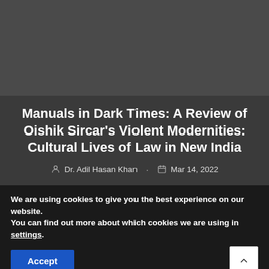[Figure (photo): Dark gray hero image area above article title]
Manuals in Dark Times: A Review of Oishik Sircar’s Violent Modernities: Cultural Lives of Law in New India
Dr. Adil Hasan Khan · Mar 14, 2022
We are using cookies to give you the best experience on our website.
You can find out more about which cookies we are using in settings.
Accept